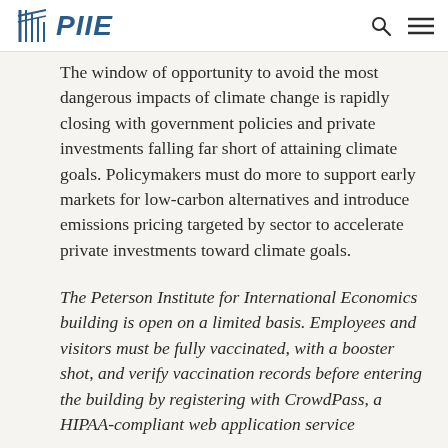PIIE
The window of opportunity to avoid the most dangerous impacts of climate change is rapidly closing with government policies and private investments falling far short of attaining climate goals. Policymakers must do more to support early markets for low-carbon alternatives and introduce emissions pricing targeted by sector to accelerate private investments toward climate goals.
The Peterson Institute for International Economics building is open on a limited basis. Employees and visitors must be fully vaccinated, with a booster shot, and verify vaccination records before entering the building by registering with CrowdPass, a HIPAA-compliant web application service...